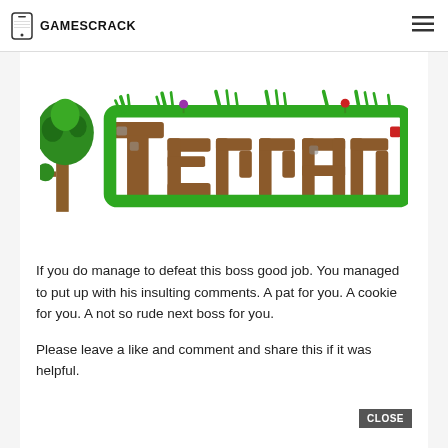GAMESCRACK
[Figure (logo): Terraria game logo with a tree on the left and the word 'Terraria' in large brown letters outlined with green, with grass and small plants on top]
If you do manage to defeat this boss good job. You managed to put up with his insulting comments. A pat for you. A cookie for you. A not so rude next boss for you.
Please leave a like and comment and share this if it was helpful.